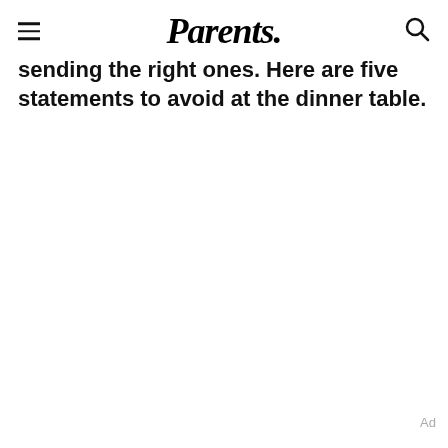Parents.
sending the right ones. Here are five statements to avoid at the dinner table.
Ad